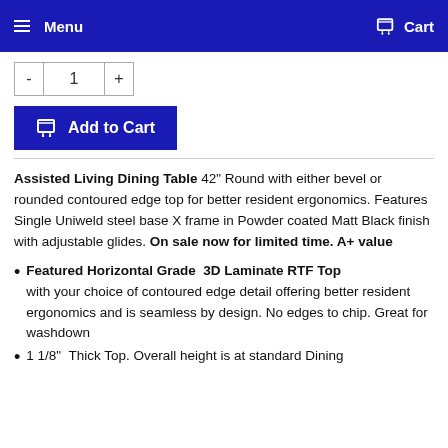Menu  Cart
- 1 +
Add to Cart
Assisted Living Dining Table 42" Round with either bevel or rounded contoured edge top for better resident ergonomics. Features Single Uniweld steel base X frame in Powder coated Matt Black finish with adjustable glides. On sale now for limited time. A+ value
Featured Horizontal Grade  3D Laminate RTF Top with your choice of contoured edge detail offering better resident ergonomics and is seamless by design. No edges to chip. Great for washdown
1 1/8"  Thick Top. Overall height is at standard Dining